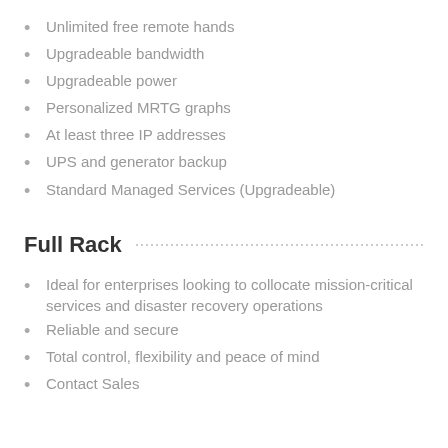Unlimited free remote hands
Upgradeable bandwidth
Upgradeable power
Personalized MRTG graphs
At least three IP addresses
UPS and generator backup
Standard Managed Services (Upgradeable)
Full Rack
Ideal for enterprises looking to collocate mission-critical services and disaster recovery operations
Reliable and secure
Total control, flexibility and peace of mind
Contact Sales